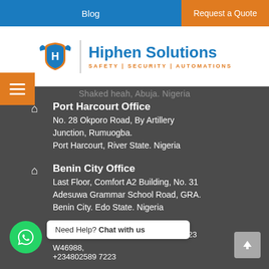Blog | Request a Quote
[Figure (logo): Hiphen Solutions logo with shield icon and tagline SAFETY | SECURITY | AUTOMATIONS]
Port Harcourt Office
No. 28 Okporo Road, By Artillery Junction, Rumuogba.
Port Harcourt, River State. Nigeria
Benin City Office
Last Floor, Comfort A2 Building, No. 31 Adesuwa Grammar School Road, GRA.
Benin City. Edo State. Nigeria
+234-703-514-6988 | +234-802-589-7223
WhatsApp: ...46988, +234802589 7223
Need Help? Chat with us